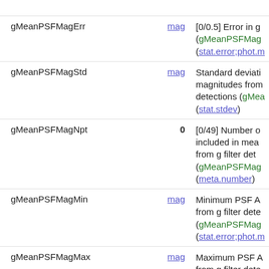| Name | Unit | Description |
| --- | --- | --- |
| gMeanPSFMagErr | mag | [0/0.5] Error in g (gMeanPSFMag...) (stat.error;phot.m...) |
| gMeanPSFMagStd | mag | Standard deviation magnitudes from detections (gMea...) (stat.stdev) |
| gMeanPSFMagNpt | 0 | [0/49] Number of... included in mean from g filter dete... (gMeanPSFMag...) (meta.number) |
| gMeanPSFMagMin | mag | Minimum PSF A... from g filter dete... (gMeanPSFMag...) (stat.error;phot.m...) |
| gMeanPSFMagMax | mag | Maximum PSF A... from g filter dete... (gMeanPSFMag...) (stat.error;phot.m...) |
| gMeanKronMag | mag | Mean Kron (198... magnitude from detections (gMea...) (phot.magism.st...) |